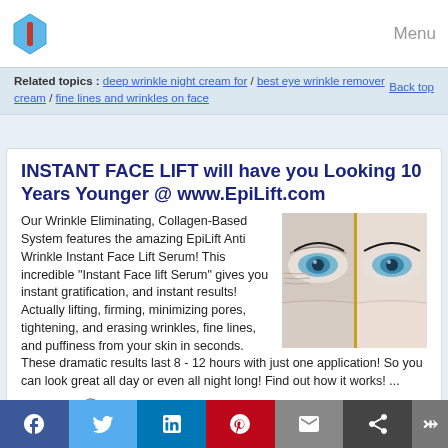Menu
Related topics : deep wrinkle night cream for / best eye wrinkle remover cream / fine lines and wrinkles on face
Back top
INSTANT FACE LIFT will have you Looking 10 Years Younger @ www.EpiLift.com
[Figure (photo): Close-up before/after photo of an eye area showing wrinkle treatment results]
Our Wrinkle Eliminating, Collagen-Based System features the amazing EpiLift Anti Wrinkle Instant Face Lift Serum! This incredible "Instant Face lift Serum" gives you instant gratification, and instant results! Actually lifting, firming, minimizing pores, tightening, and erasing wrinkles, fine lines, and puffiness from your skin in seconds. These dramatic results last 8 - 12 hours with just one application! So you can look great all day or even all night long! Find out how it works! ...
View more
From: EpiLift2010
Related topics : instant face...